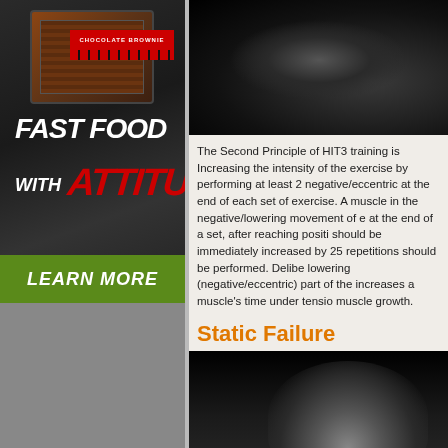[Figure (photo): Advertisement image: protein food product box (chocolate brownie flavor) on dark background with 'FAST FOOD WITH ATTITUDE' text and a green LEARN MORE button]
[Figure (photo): Black and white close-up photo of a muscular body/muscle detail, dark background]
The Second Principle of HIT3 training is Increasing the intensity of the exercise by performing at least 2 negative/eccentric at the end of each set of exercise. A muscle in the negative/lowering movement of e at the end of a set, after reaching positi should be immediately increased by 25 repetitions should be performed. Delibe lowering (negative/eccentric) part of the increases a muscle's time under tensio muscle growth.
Static Failure
[Figure (photo): Black and white photo of a male bodybuilder flexing, shown from the torso up with face partially visible]